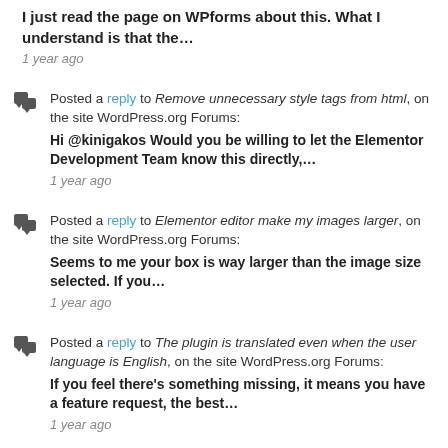I just read the page on WPforms about this. What I understand is that the…
1 year ago
Posted a reply to Remove unnecessary style tags from html, on the site WordPress.org Forums: Hi @kinigakos Would you be willing to let the Elementor Development Team know this directly,…
1 year ago
Posted a reply to Elementor editor make my images larger, on the site WordPress.org Forums: Seems to me your box is way larger than the image size selected. If you…
1 year ago
Posted a reply to The plugin is translated even when the user language is English, on the site WordPress.org Forums: If you feel there's something missing, it means you have a feature request, the best…
1 year ago
Posted a reply to weird space below icon widget, on the site WordPress.org Forums: